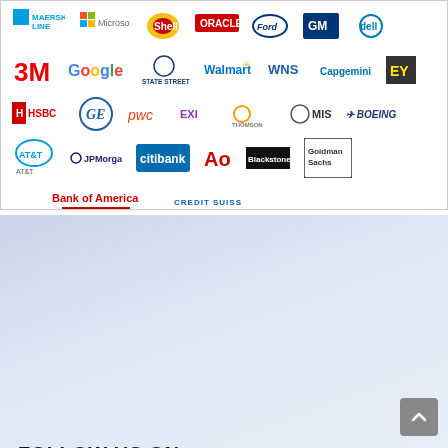[Figure (other): Grid of corporate logos including Maersk Line, Microsoft, Shell, Oracle, Ford, GM, Dell, 3M, Google, State Street, Walmart, WNS, Capgemini, EY, HSBC, GE, PwC, EXI, Thomson Reuters, Misys, Boeing, AT&T, JPMorgan, Citibank, AON, Blackstone, Goldman Sachs, Bank of America, Credit Suisse]
FOLLOW US ON
[Figure (other): Social media icons: Facebook, YouTube, WhatsApp, Instagram]
Our Branches & Contact Details
| Mangalore | Mysore | Bangalore |
| --- | --- | --- |
| 9845278972 | 9902514289 | 8073953197 |